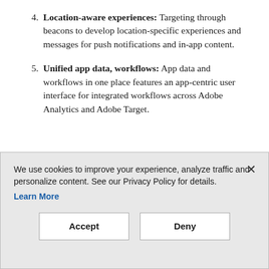4. Location-aware experiences: Targeting through beacons to develop location-specific experiences and messages for push notifications and in-app content.
5. Unified app data, workflows: App data and workflows in one place features an app-centric user interface for integrated workflows across Adobe Analytics and Adobe Target.
Asay said the analytics capabilities offer real time insight that drives optimization and targeting with different app iterations. He boasted that Adobe’s A/B and multivariate
We use cookies to improve your experience, analyze traffic and personalize content. See our Privacy Policy for details. Learn More
Accept
Deny